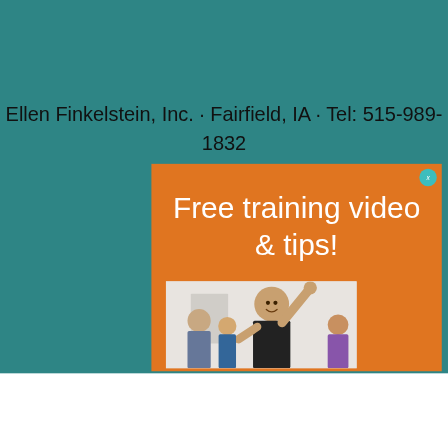Ellen Finkelstein, Inc. · Fairfield, IA · Tel: 515-989-1832
[Figure (infographic): Orange advertisement banner with white text reading 'Free training video & tips!' and a photo of a woman with raised arms in a classroom setting. Has a teal close button with 'x'.]
[Figure (infographic): Bottom advertisement bar for '1800flowers.com' showing colorful flowers, text 'Trending Flowers & Gifts', 'Shop The Collection', 'www.1800flowers.com', and a purple arrow button. Has a gray X close button.]